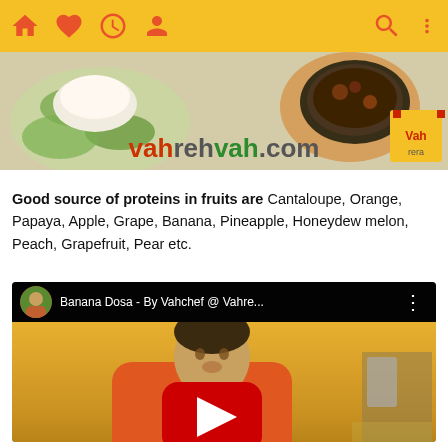[Figure (screenshot): Mobile app navigation bar with yellow background and orange icons: home, heart/favorites, clock/history, profile on left; search and menu on right]
[Figure (photo): Banner image for vahrehvah.com showing Indian food dishes (rice, curry) with the website name in red, grey and green text, and Vah logo in bottom right]
Good source of proteins in fruits are Cantaloupe, Orange, Papaya, Apple, Grape, Banana, Pineapple, Honeydew melon, Peach, Grapefruit, Pear etc.
[Figure (screenshot): YouTube video thumbnail showing 'Banana Dosa - By Vahchef @ Vahre...' with a chef in orange uniform cooking, yellow background, red YouTube play button overlay]